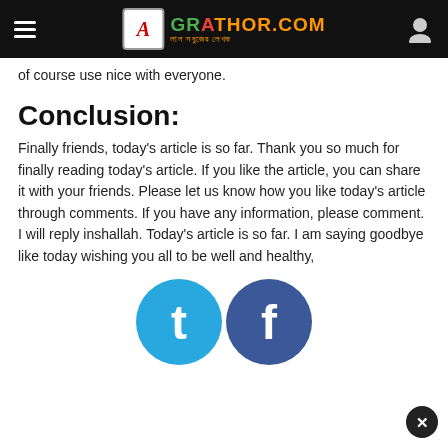GRATHOR.COM — লাল সবুজের লেখক
of course use nice with everyone.
Conclusion:
Finally friends, today's article is so far. Thank you so much for finally reading today's article. If you like the article, you can share it with your friends. Please let us know how you like today's article through comments. If you have any information, please comment. I will reply inshallah. Today's article is so far. I am saying goodbye like today wishing you all to be well and healthy,
[Figure (logo): Social share icons: Tumblr (t) and Facebook (f) circular blue buttons]